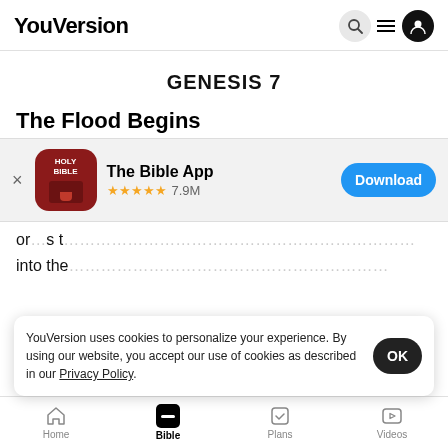YouVersion
GENESIS 7
The Flood Begins
[Figure (screenshot): App store banner for The Bible App with HOLY BIBLE icon, 4.5 stars, 7.9M ratings, and a Download button]
or is t…
into the…
seven females) of every kind of clean animal. And
YouVersion uses cookies to personalize your experience. By using our website, you accept our use of cookies as described in our Privacy Policy.
Home   Bible   Plans   Videos